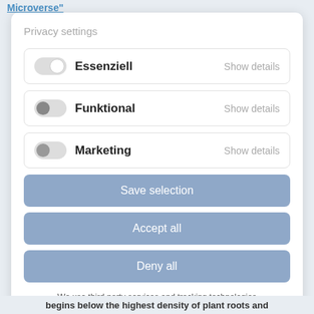Microverse"
Privacy settings
Essenziell  Show details
Funktional  Show details
Marketing  Show details
Save selection
Accept all
Deny all
We use third party services and tracking technologies to improve the quality of our website. Please select
begins below the highest density of plant roots and